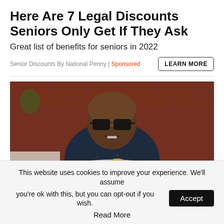Here Are 7 Legal Discounts Seniors Only Get If They Ask
Great list of benefits for seniors in 2022
Senior Discounts By National Penny | Sponsored
[Figure (photo): A bald man wearing thick black glasses and a dark dotted shirt, holding a large pot filled with lemon slices, in a kitchen with brick wall background]
This website uses cookies to improve your experience. We'll assume you're ok with this, but you can opt-out if you wish.
Accept
Read More